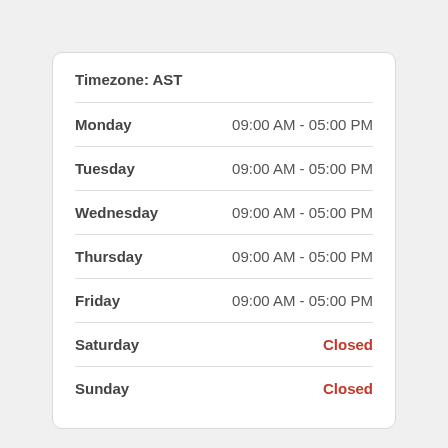| Day | Hours |
| --- | --- |
| Monday | 09:00 AM - 05:00 PM |
| Tuesday | 09:00 AM - 05:00 PM |
| Wednesday | 09:00 AM - 05:00 PM |
| Thursday | 09:00 AM - 05:00 PM |
| Friday | 09:00 AM - 05:00 PM |
| Saturday | Closed |
| Sunday | Closed |